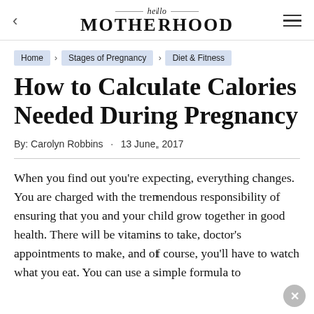hello MOTHERHOOD
Home > Stages of Pregnancy > Diet & Fitness
How to Calculate Calories Needed During Pregnancy
By: Carolyn Robbins · 13 June, 2017
When you find out you're expecting, everything changes. You are charged with the tremendous responsibility of ensuring that you and your child grow together in good health. There will be vitamins to take, doctor's appointments to make, and of course, you'll have to watch what you eat. You can use a simple formula to